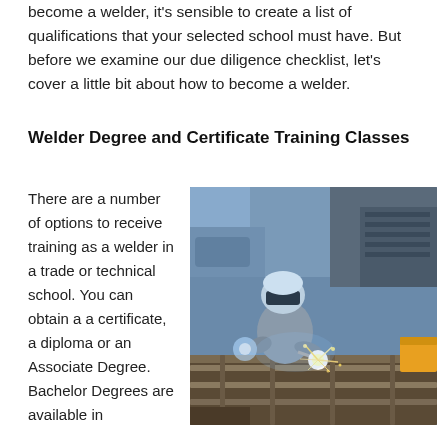become a welder, it's sensible to create a list of qualifications that your selected school must have. But before we examine our due diligence checklist, let's cover a little bit about how to become a welder.
Welder Degree and Certificate Training Classes
There are a number of options to receive training as a welder in a trade or technical school. You can obtain a a certificate, a diploma or an Associate Degree. Bachelor Degrees are available in
[Figure (photo): A welder in protective gear and face shield welding metal frames in an industrial workshop, with bright sparks flying from the weld point.]